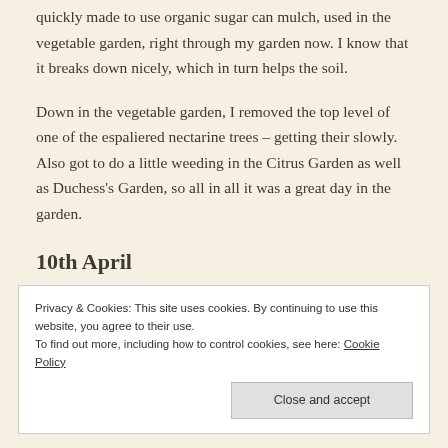quickly made to use organic sugar can mulch, used in the vegetable garden, right through my garden now. I know that it breaks down nicely, which in turn helps the soil.
Down in the vegetable garden, I removed the top level of one of the espaliered nectarine trees – getting their slowly. Also got to do a little weeding in the Citrus Garden as well as Duchess's Garden, so all in all it was a great day in the garden.
10th April
Privacy & Cookies: This site uses cookies. By continuing to use this website, you agree to their use.
To find out more, including how to control cookies, see here: Cookie Policy